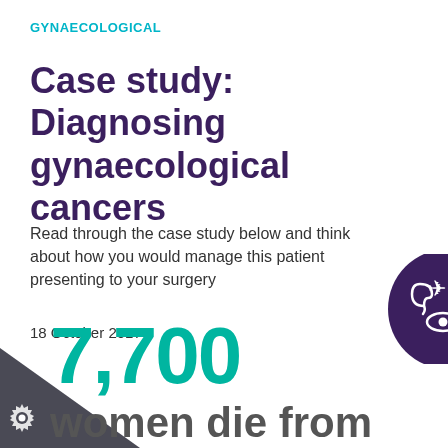GYNAECOLOGICAL
Case study: Diagnosing gynaecological cancers
Read through the case study below and think about how you would manage this patient presenting to your surgery
18 October 2017
[Figure (infographic): Dark purple circle with ear/eye accessibility icons, positioned top-right]
[Figure (infographic): Dark grey/charcoal triangle shape in bottom-left corner with a gear icon]
7,700
women die from